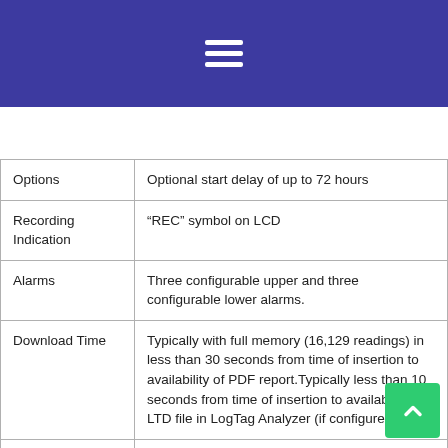[Figure (screenshot): Blue navigation header bar with white hamburger menu icon]
[Figure (screenshot): Search bar with magnifying glass icon and placeholder text 'Search...']
| Options | Optional start delay of up to 72 hours |
| Recording Indication | “REC” symbol on LCD |
| Alarms | Three configurable upper and three configurable lower alarms. |
| Download Time | Typically with full memory (16,129 readings) in less than 30 seconds from time of insertion to availability of PDF report. Typically less than 10 seconds from time of insertion to availability of LTD file in LogTag Analyzer (if configured) |
| Environmental | IP61 (when vertically mounted or hung with USB dust-cap in place). |